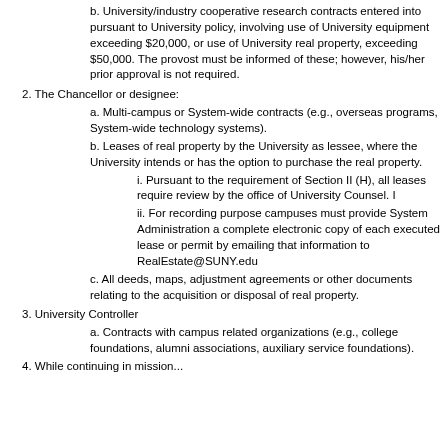b. University/industry cooperative research contracts entered into pursuant to University policy, involving use of University equipment exceeding $20,000, or use of University real property, exceeding $50,000. The provost must be informed of these; however, his/her prior approval is not required.
2. The Chancellor or designee:
a. Multi-campus or System-wide contracts (e.g., overseas programs, System-wide technology systems).
b. Leases of real property by the University as lessee, where the University intends or has the option to purchase the real property.
i. Pursuant to the requirement of Section II (H), all leases require review by the office of University Counsel. I
ii. For recording purpose campuses must provide System Administration a complete electronic copy of each executed lease or permit by emailing that information to RealEstate@SUNY.edu
c. All deeds, maps, adjustment agreements or other documents relating to the acquisition or disposal of real property.
3. University Controller
a. Contracts with campus related organizations (e.g., college foundations, alumni associations, auxiliary service foundations).
4. While continuing in mission...